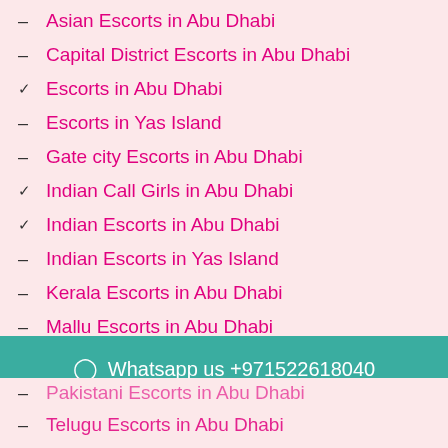Asian Escorts in Abu Dhabi
Capital District Escorts in Abu Dhabi
Escorts in Abu Dhabi
Escorts in Yas Island
Gate city Escorts in Abu Dhabi
Indian Call Girls in Abu Dhabi
Indian Escorts in Abu Dhabi
Indian Escorts in Yas Island
Kerala Escorts in Abu Dhabi
Mallu Escorts in Abu Dhabi
Malyalam Escorts in Abu Dhabi
Whatsapp us +971522618040
Telugu Escorts in Abu Dhabi